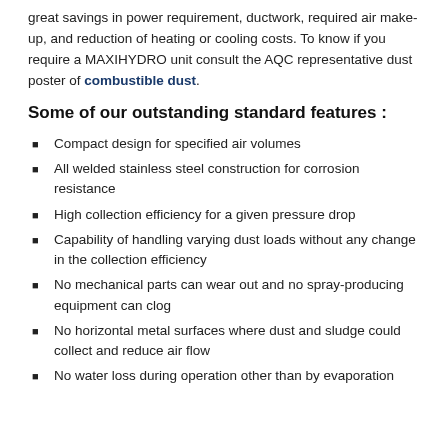great savings in power requirement, ductwork, required air make-up, and reduction of heating or cooling costs. To know if you require a MAXIHYDRO unit consult the AQC representative dust poster of combustible dust.
Some of our outstanding standard features :
Compact design for specified air volumes
All welded stainless steel construction for corrosion resistance
High collection efficiency for a given pressure drop
Capability of handling varying dust loads without any change in the collection efficiency
No mechanical parts can wear out and no spray-producing equipment can clog
No horizontal metal surfaces where dust and sludge could collect and reduce air flow
No water loss during operation other than by evaporation